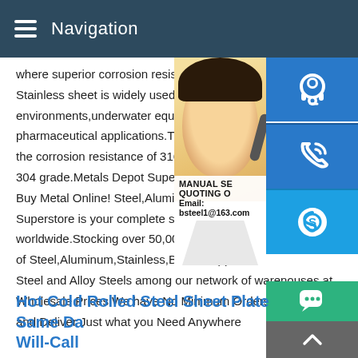Navigation
where superior corrosion resistance is of p Stainless sheet is widely used in marine a environments,underwater equipment,surgi pharmaceutical applications.The addition the corrosion resistance of 316 Stainless 304 grade.Metals Depot Super Thick A36 Buy Metal Online! Steel,Aluminum Metals Superstore is your complete supplier for in worldwide.Stocking over 50,000 Shapes,S of Steel,Aluminum,Stainless,Brass,Coppe Steel and Alloy Steels among our network of warenouses,at Wholesale Prices.We have No Minimum Orders,We Cut to Size and Deliver Just what you Need Anywhere
[Figure (photo): Customer service representative woman with headset, blue background with contact icons including headset, phone, and Skype icons, plus overlay text showing MANUAL SE, QUOTING O, and Email: bsteel1@163.com]
Hot Cold Rolled Steel Sheet Plate Same Da Will-Call